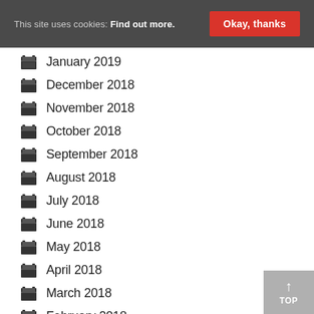This site uses cookies: Find out more. Okay, thanks
January 2019
December 2018
November 2018
October 2018
September 2018
August 2018
July 2018
June 2018
May 2018
April 2018
March 2018
February 2018